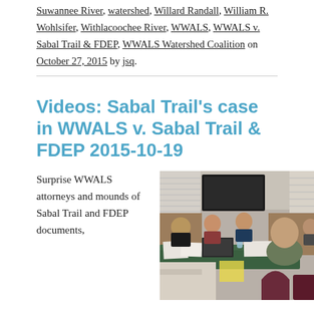Suwannee River, watershed, Willard Randall, William R. Wohlsifer, Withlacoochee River, WWALS, WWALS v. Sabal Trail & FDEP, WWALS Watershed Coalition on October 27, 2015 by jsq.
Videos: Sabal Trail's case in WWALS v. Sabal Trail & FDEP 2015-10-19
Surprise WWALS attorneys and mounds of Sabal Trail and FDEP documents,
[Figure (photo): People seated around a conference table in a meeting room. A large TV screen is visible on the wall. Several people are seen from the side, with papers and laptops on the table. A man in the foreground has his back to the camera.]